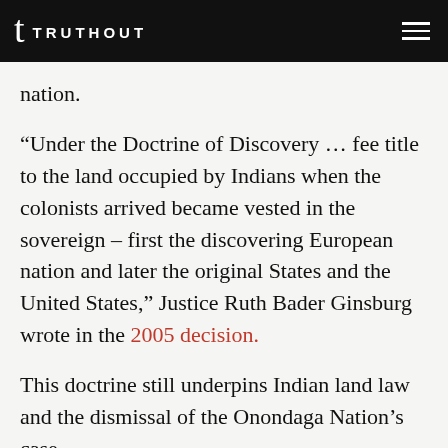TRUTHOUT
nation.
“Under the Doctrine of Discovery … fee title to the land occupied by Indians when the colonists arrived became vested in the sovereign – first the discovering European nation and later the original States and the United States,” Justice Ruth Bader Ginsburg wrote in the 2005 decision.
This doctrine still underpins Indian land law and the dismissal of the Onondaga Nation’s case.
“This is the Plessy v. Ferguson of Indian law,”